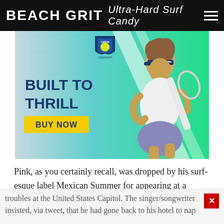BEACH GRIT Ultra-Hard Surf Candy
[Figure (photo): Advertisement for Western & Southern Open Cincinnati tennis tournament. Blue and green background with a female tennis player holding a racket. Text reads: BUILT TO THRILL, BUY NOW. Open Cincinnati logo visible.]
Pink, as you certainly recall, was dropped by his surf-esque label Mexican Summer for appearing at a Trump rally on the White House lawn. The very same rally that preceded
troubles at the United States Capitol. The singer/songwriter insisted, via tweet, that he had gone back to his hotel to nap